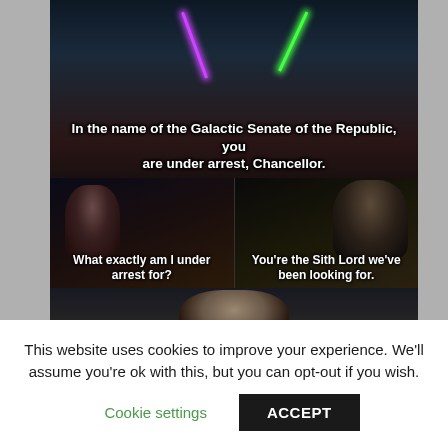[Figure (screenshot): Star Wars Revenge of the Sith meme with four panels. Top panel: lightsabers crossed, caption 'In the name of the Galactic Senate of the Republic, you are under arrest, Chancellor.' Middle-left panel: Palpatine, caption 'What exactly am I under arrest for?' Middle-right panel: Mace Windu, caption 'You're the Sith Lord we've been looking for.' Bottom panel: Palpatine closeup, caption 'So? Does it say anywhere in the Galactic Constitution']
This website uses cookies to improve your experience. We'll assume you're ok with this, but you can opt-out if you wish.
Cookie settings
ACCEPT